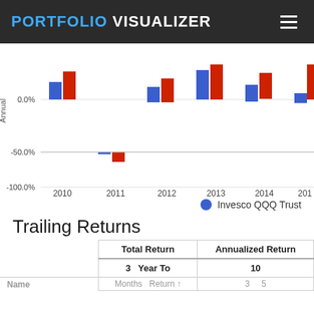PORTFOLIO VISUALIZER
[Figure (grouped-bar-chart): Annual Returns]
Invesco QQQ Trust
Trailing Returns
|  | Total Return | Annualized Return |
| --- | --- | --- |
|  | 3   Year To | 10 |